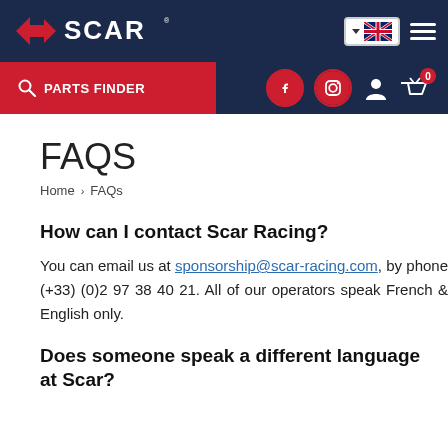[Figure (logo): SCAR Racing logo with red S icon and white SCAR text on dark navy background]
PARTS FINDER | navigation icons: Facebook, Instagram, user account, basket (0)
FAQS
Home > FAQs
How can I contact Scar Racing?
You can email us at sponsorship@scar-racing.com, by phone (+33) (0)2 97 38 40 21. All of our operators speak French & English only.
Does someone speak a different language at Scar?